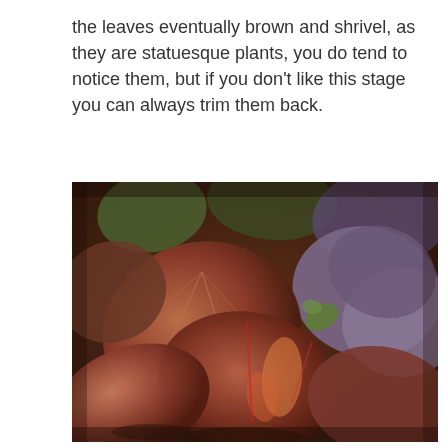the leaves eventually brown and shrivel, as they are statuesque plants, you do tend to notice them, but if you don't like this stage you can always trim them back.
[Figure (photo): Close-up photograph of large reddish-brown and purple leaves of a plant growing in a garden, showing rich autumn/winter foliage colors with dark veining patterns.]